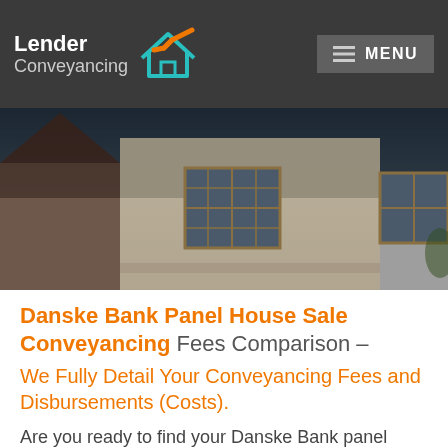Lender Conveyancing — MENU
[Figure (photo): Exterior photo of a brick house with wooden-framed windows, shown at dusk with a dark overlay tint.]
Danske Bank Panel House Sale Conveyancing Fees Comparison – We Fully Detail Your Conveyancing Fees and Disbursements (Costs).
Are you ready to find your Danske Bank panel